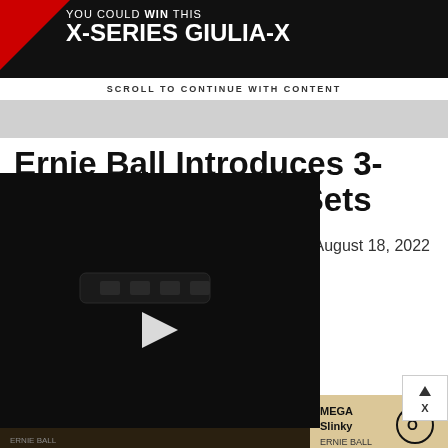[Figure (screenshot): Top advertisement banner: black background with red triangle, text 'You could WIN this X-SERIES GIULIA-X', with 'SCROLL TO CONTINUE WITH CONTENT' below]
Ernie Ball Introduces 3- [...]ng Sets
August 18, 2022
[Figure (screenshot): Video player with black background showing guitar hardware and play button]
[Figure (photo): Ernie Ball Mega Slinky guitar strings packaging visible on right side]
[Figure (screenshot): Bottom advertisement: EMG pickups Les Claypool LC Set promotion, dark background with guitar strings image]